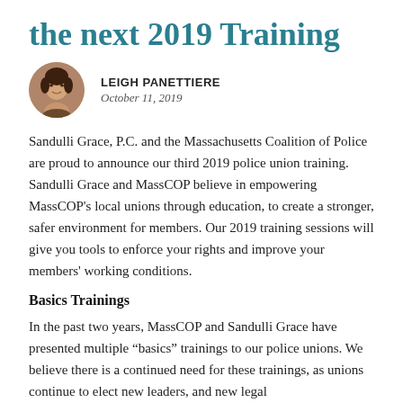the next 2019 Training
[Figure (photo): Circular portrait photo of Leigh Panettiere]
LEIGH PANETTIERE
October 11, 2019
Sandulli Grace, P.C. and the Massachusetts Coalition of Police are proud to announce our third 2019 police union training. Sandulli Grace and MassCOP believe in empowering MassCOP’s local unions through education, to create a stronger, safer environment for members. Our 2019 training sessions will give you tools to enforce your rights and improve your members’ working conditions.
Basics Trainings
In the past two years, MassCOP and Sandulli Grace have presented multiple “basics” trainings to our police unions. We believe there is a continued need for these trainings, as unions continue to elect new leaders, and new legal